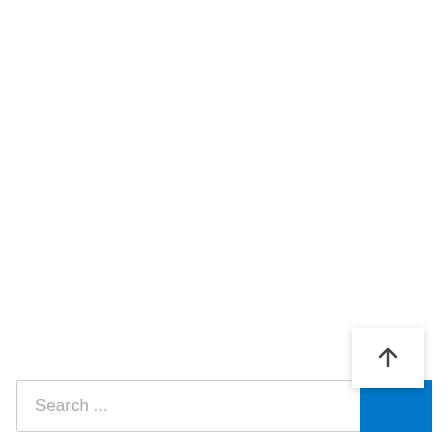[Figure (screenshot): Search bar UI element with placeholder text 'Search ...' and a blue search button on the right. Above the blue button is a white scroll-to-top button with an upward arrow icon.]